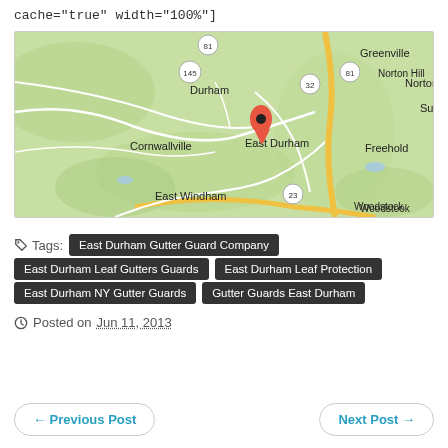cache="true" width="100%"]
[Figure (map): Google map showing East Durham, NY area with a red location pin on East Durham. Surrounding areas include Durham, Cornwallville, East Windham, Norton Hill, Greenville, Freehold, and Woodstock. Roads including Route 81, 145, 32, and 23 are visible.]
Tags: East Durham Gutter Guard Company, East Durham Leaf Gutters Guards, East Durham Leaf Protection, East Durham NY Gutter Guards, Gutter Guards East Durham
Posted on Jun 11, 2013
← Previous Post
Next Post →